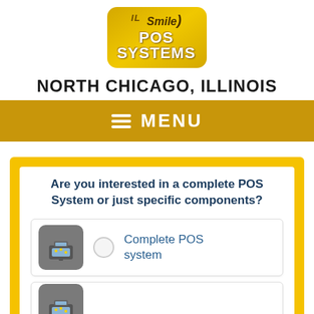[Figure (logo): IL Smile POS Systems logo — gold rounded rectangle badge with 'IL Smile' text and 'POS SYSTEMS' in white bold text]
NORTH CHICAGO, ILLINOIS
MENU
Are you interested in a complete POS System or just specific components?
Complete POS system
(partial second option, cut off)